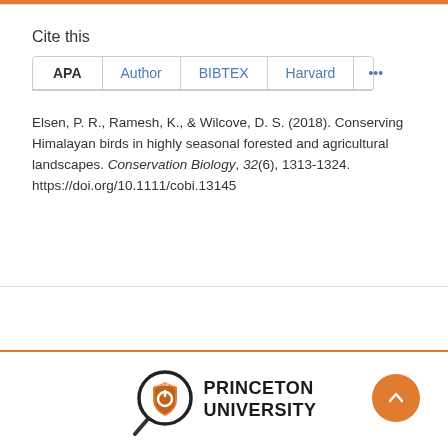Cite this
APA | Author | BIBTEX | Harvard | ...
Elsen, P. R., Ramesh, K., & Wilcove, D. S. (2018). Conserving Himalayan birds in highly seasonal forested and agricultural landscapes. Conservation Biology, 32(6), 1313-1324. https://doi.org/10.1111/cobi.13145
[Figure (logo): Princeton University logo with magnifying glass and shield icon]